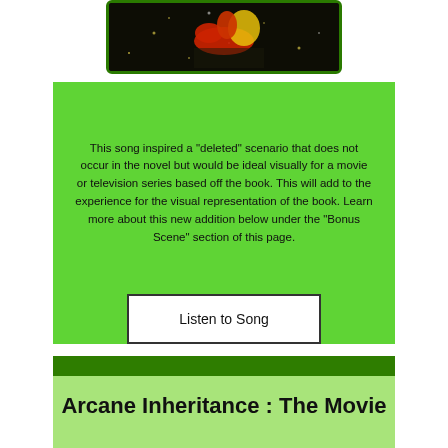[Figure (illustration): Partial view of a book or media cover image showing figures on a dark background with green border, cropped at top of page]
This song inspired a "deleted" scenario that does not occur in the novel but would be ideal visually for a movie or television series based off the book. This will add to the experience for the visual representation of the book. Learn more about this new addition below under the "Bonus Scene" section of this page.
Listen to Song
Arcane Inheritance : The Movie